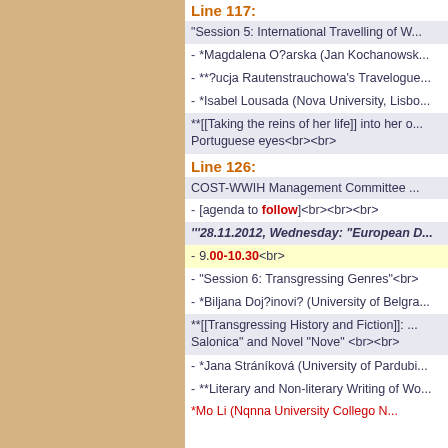Line 117:
"Session 5: International Travelling of W...
- *Magdalena O?arska (Jan Kochanowsk...
- **?ucja Rautenstrauchowa's Travelogue...
- *Isabel Lousada (Nova University, Lisbo...
**[[Taking the reins of her life]] into her ... Portuguese eyes<br><br>
Line 126:
COST-WWIH Management Committee ...
- [agenda to follow]<br><br><br>
'''28.11.2012, Wednesday: "European D...
- 9.00-10.30<br>
- "Session 6: Transgressing Genres"<br>
- *Biljana Doj?inovi? (University of Belgra...
**[[Transgressing History and Fiction]]: ... Salonica" and Novel "Nove" <br><br>
- *Jana Stráníková (University of Pardubi...
- **Literary and Non-literary Writing of Wo...
*Mo Li (Nqnna University Collego N...